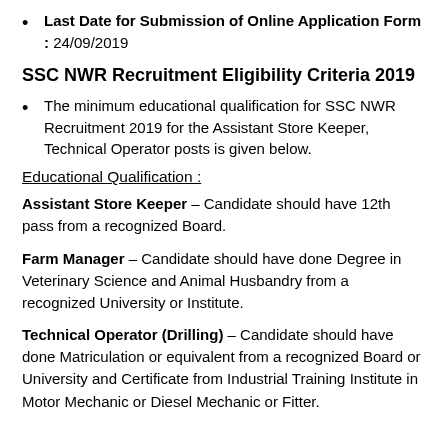Last Date for Submission of Online Application Form : 24/09/2019
SSC NWR Recruitment Eligibility Criteria 2019
The minimum educational qualification for SSC NWR Recruitment 2019 for the Assistant Store Keeper, Technical Operator posts is given below.
Educational Qualification :
Assistant Store Keeper – Candidate should have 12th pass from a recognized Board.
Farm Manager – Candidate should have done Degree in Veterinary Science and Animal Husbandry from a recognized University or Institute.
Technical Operator (Drilling) – Candidate should have done Matriculation or equivalent from a recognized Board or University and Certificate from Industrial Training Institute in Motor Mechanic or Diesel Mechanic or Fitter.